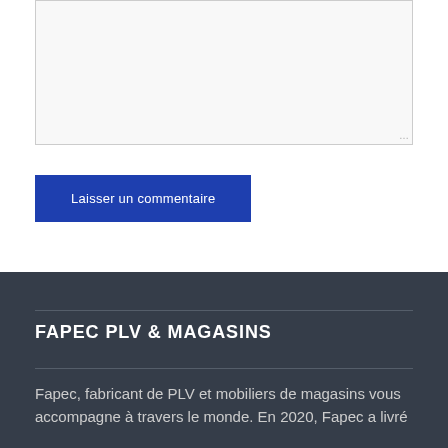[Figure (other): Text input textarea field with light gray background and resize handle in bottom-right corner]
Laisser un commentaire
FAPEC PLV & MAGASINS
Fapec, fabricant de PLV et mobiliers de magasins vous accompagne à travers le monde. En 2020, Fapec a livré